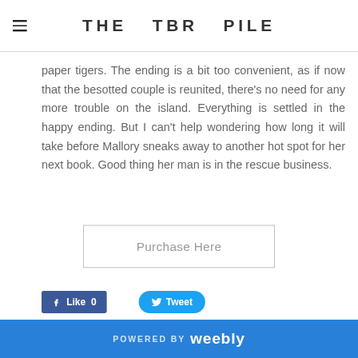THE TBR PILE
paper tigers. The ending is a bit too convenient, as if now that the besotted couple is reunited, there's no need for any more trouble on the island. Everything is settled in the happy ending. But I can't help wondering how long it will take before Mallory sneaks away to another hot spot for her next book. Good thing her man is in the rescue business.
Purchase Here
Like 0
Tweet
REVIEW: The Ghost
POWERED BY weebly